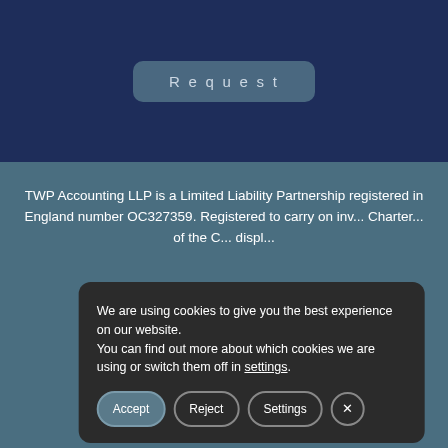[Figure (screenshot): Request button on dark navy background]
TWP Accounting LLP is a Limited Liability Partnership registered in England number OC327359. Registered to carry on inv... Charter... of the C... displ...
[Figure (screenshot): Cookie consent popup with Accept, Reject, Settings, and close buttons. Text: We are using cookies to give you the best experience on our website. You can find out more about which cookies we are using or switch them off in settings.]
[Figure (screenshot): Social media icons: Facebook, Twitter, LinkedIn. Scroll to top chevron arrow.]